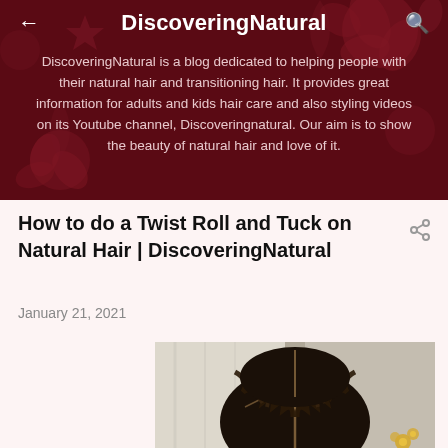DiscoveringNatural
DiscoveringNatural is a blog dedicated to helping people with their natural hair and transitioning hair. It provides great information for adults and kids hair care and also styling videos on its Youtube channel, Discoveringnatural. Our aim is to show the beauty of natural hair and love of it.
How to do a Twist Roll and Tuck on Natural Hair | DiscoveringNatural
January 21, 2021
[Figure (photo): Back view of a person with natural hair styled in a twist roll and tuck style, showing braided/twisted sections on the scalp viewed from behind.]